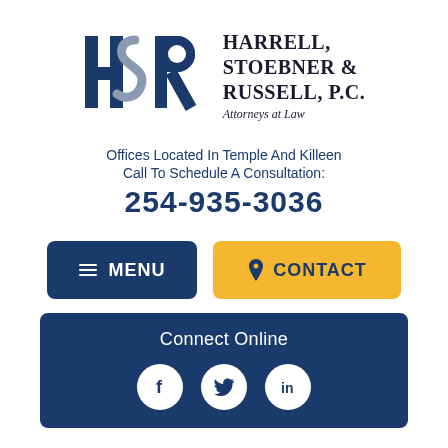[Figure (logo): HSR law firm logo with stylized H, S, R letters and firm name Harrell, Stoebner & Russell, P.C. Attorneys at Law]
Offices Located In Temple And Killeen
Call To Schedule A Consultation:
254-935-3036
MENU
CONTACT
Connect Online